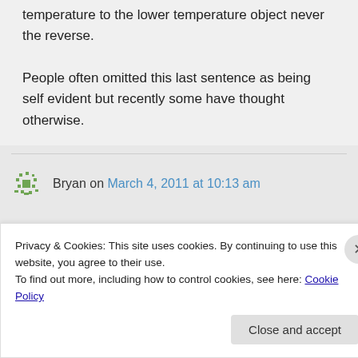temperature to the lower temperature object never the reverse.
People often omitted this last sentence as being self evident but recently some have thought otherwise.
Bryan on March 4, 2011 at 10:13 am
Privacy & Cookies: This site uses cookies. By continuing to use this website, you agree to their use.
To find out more, including how to control cookies, see here: Cookie Policy